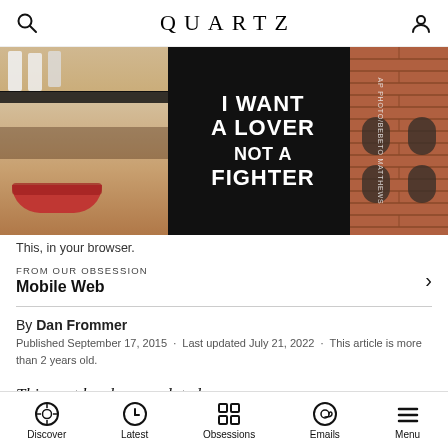QUARTZ
[Figure (photo): Workers on scaffolding painting a large mural on a building wall that reads 'I WANT A LOVER NOT A FIGHTER'. The left portion shows a large painted face with red lips. The right portion shows a red brick building facade.]
This, in your browser.
FROM OUR OBSESSION
Mobile Web
By Dan Frommer
Published September 17, 2015 · Last updated July 21, 2022 · This article is more than 2 years old.
This post has been updated.
Discover | Latest | Obsessions | Emails | Menu